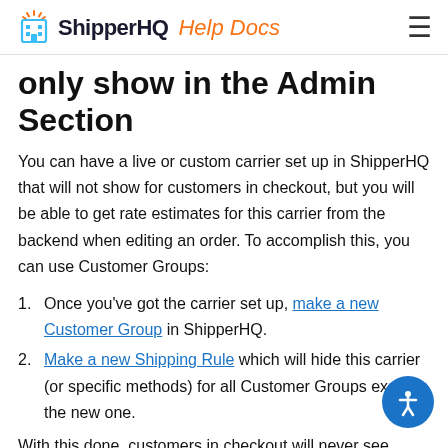ShipperHQ Help Docs
only show in the Admin Section
You can have a live or custom carrier set up in ShipperHQ that will not show for customers in checkout, but you will be able to get rate estimates for this carrier from the backend when editing an order. To accomplish this, you can use Customer Groups:
1. Once you've got the carrier set up, make a new Customer Group in ShipperHQ.
2. Make a new Shipping Rule which will hide this carrier (or specific methods) for all Customer Groups except the new one.
With this done, customers in checkout will never see carrier, but when you are editing the order you can select